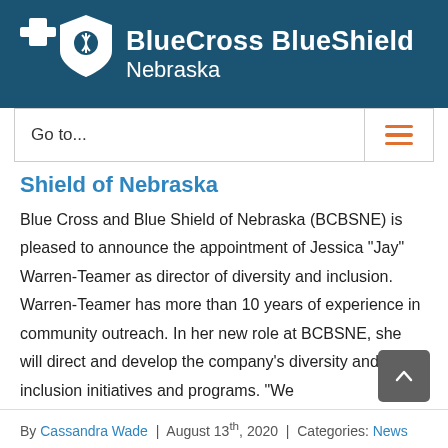[Figure (logo): Blue Cross Blue Shield of Nebraska logo — white cross and shield icons with text 'BlueCross BlueShield Nebraska' on dark teal background]
Go to...
Shield of Nebraska
Blue Cross and Blue Shield of Nebraska (BCBSNE) is pleased to announce the appointment of Jessica “Jay” Warren-Teamer as director of diversity and inclusion. Warren-Teamer has more than 10 years of experience in community outreach. In her new role at BCBSNE, she will direct and develop the company’s diversity and inclusion initiatives and programs. “We
By Cassandra Wade | August 13th, 2020 | Categories: News